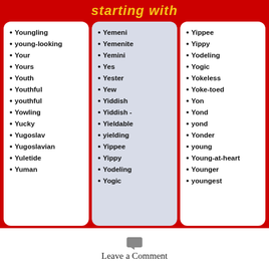starting with
Youngling
young-looking
Your
Yours
Youth
Youthful
youthful
Yowling
Yucky
Yugoslav
Yugoslavian
Yuletide
Yuman
Yemeni
Yemenite
Yemini
Yes
Yester
Yew
Yiddish
Yiddish -
Yieldable
yielding
Yippee
Yippy
Yodeling
Yogic
Yippee
Yippy
Yodeling
Yogic
Yokeless
Yoke-toed
Yon
Yond
yond
Yonder
young
Young-at-heart
Younger
youngest
Leave a Comment